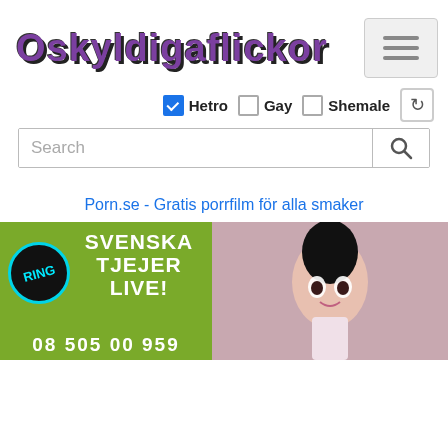[Figure (logo): Oskyldigaflickor logo in purple bubbly font with dark shadow, on white background]
Hetro  Gay  Shemale (filter checkboxes with Hetro checked)
Search (search input bar with magnifying glass icon)
Porn.se - Gratis porrfilm för alla smaker
[Figure (photo): Advertisement banner: green background, text 'SVENSKA TJEJER LIVE!' with 'RING' badge and phone number at bottom]
[Figure (photo): Illustration of a woman with dark hair and makeup]